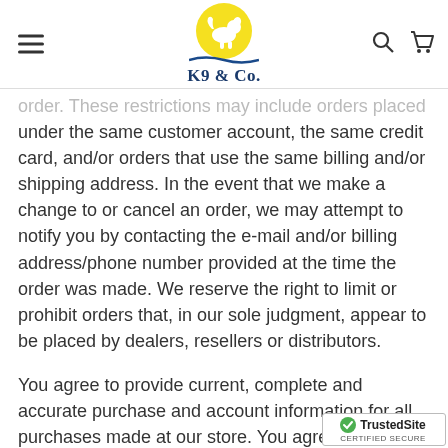[Figure (logo): K9 & Co. logo with yellow circle, dog silhouette, blue wave, and text 'K9 & Co.']
order. These restrictions may include orders placed by or under the same customer account, the same credit card, and/or orders that use the same billing and/or shipping address. In the event that we make a change to or cancel an order, we may attempt to notify you by contacting the e-mail and/or billing address/phone number provided at the time the order was made. We reserve the right to limit or prohibit orders that, in our sole judgment, appear to be placed by dealers, resellers or distributors.
You agree to provide current, complete and accurate purchase and account information for all purchases made at our store. You agree to promptly update your account and other information, including you address and credit card numbers and expiratic